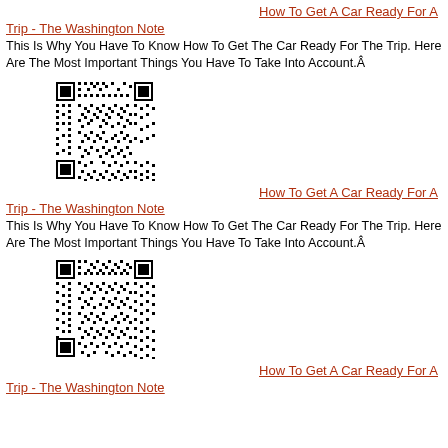How To Get A Car Ready For A Trip - The Washington Note
This Is Why You Have To Know How To Get The Car Ready For The Trip. Here Are The Most Important Things You Have To Take Into Account.Â
[Figure (other): QR code linking to article about How To Get A Car Ready For A Trip - The Washington Note]
How To Get A Car Ready For A Trip - The Washington Note
This Is Why You Have To Know How To Get The Car Ready For The Trip. Here Are The Most Important Things You Have To Take Into Account.Â
[Figure (other): QR code linking to article about How To Get A Car Ready For A Trip - The Washington Note]
How To Get A Car Ready For A Trip - The Washington Note